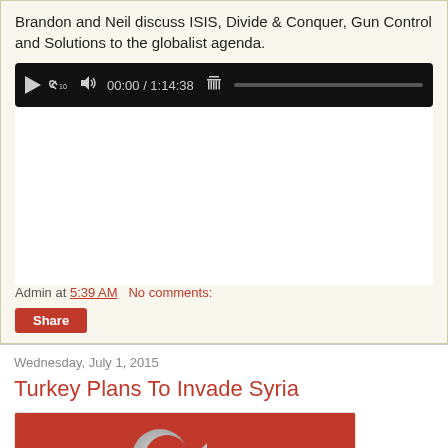Brandon and Neil discuss ISIS, Divide & Conquer, Gun Control and Solutions to the globalist agenda.
[Figure (other): Audio media player with play button, back 10 seconds button, volume button, time display showing 00:00 / 1:14:38, trash icon, and progress bar on black background.]
Admin at 5:39 AM   No comments:
Share
Wednesday, July 1, 2015
Turkey Plans To Invade Syria
[Figure (photo): Turkish flag - red background with white crescent moon and star.]